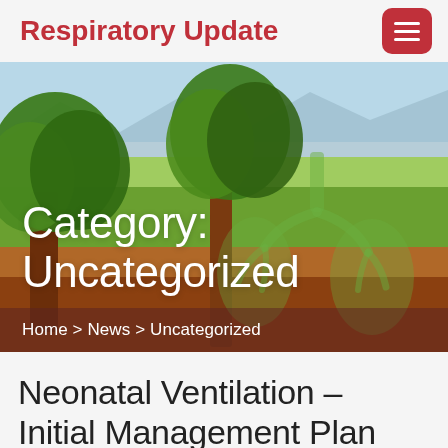Respiratory Update
[Figure (photo): Hero banner image showing green trees and fields with a semi-transparent lung/bronchial tree graphic overlay, green meadow landscape with mountains in background, red-brown soil in foreground. Category label reading 'Category: Uncategorized' overlaid in white text. Breadcrumb navigation bar with 'Home > News > Uncategorized' at the bottom of the image.]
Neonatal Ventilation – Initial Management Plan – Oakes Academy